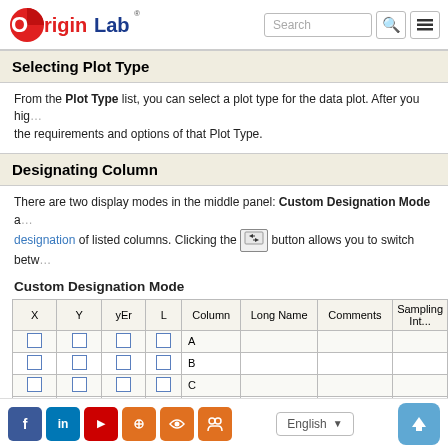OriginLab [logo] Search [search icon] [menu icon]
Selecting Plot Type
From the Plot Type list, you can select a plot type for the data plot. After you highlight a plot type, the panel on the right will display the requirements and options of that Plot Type.
Designating Column
There are two display modes in the middle panel: Custom Designation Mode and designation of listed columns. Clicking the [switch button] button allows you to switch between
Custom Designation Mode
| X | Y | yEr | L | Column | Long Name | Comments | Sampling Int... |
| --- | --- | --- | --- | --- | --- | --- | --- |
| □ | □ | □ | □ | A |  |  |  |
| □ | □ | □ | □ | B |  |  |  |
| □ | □ | □ | □ | C |  |  |  |
| □ | □ | □ | □ | D |  |  |  |
| □ | □ | □ | □ | E |  |  | 1/0.2 |
Facebook LinkedIn YouTube Settings RSS Groups | English | Up